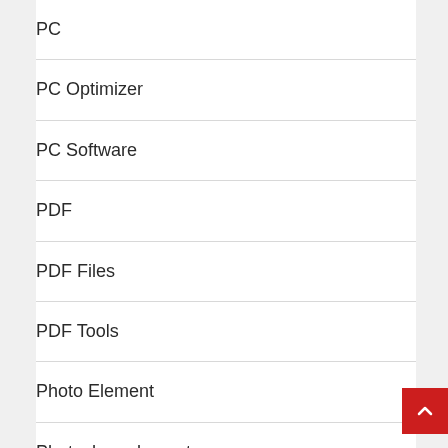PC
PC Optimizer
PC Software
PDF
PDF Files
PDF Tools
Photo Element
Photoshop elements
Plugins